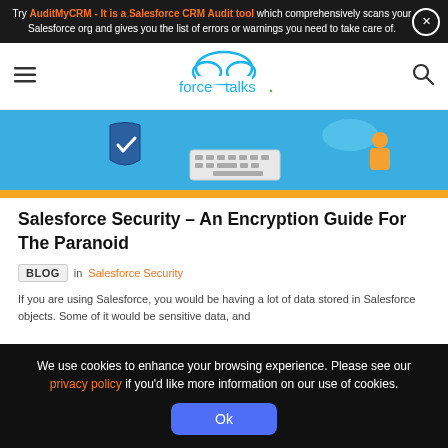Try AuditMyCRM - It is a Salesforce CRM Audit tool which comprehensively scans your Salesforce org and gives you the list of errors or warnings you need to take care of.
[Figure (logo): forcetalks. logo with cloud shape]
[Figure (illustration): Salesforce security themed hero illustration with shield, keyboard, cloud, and character]
Salesforce Security – An Encryption Guide For The Paranoid
BLOG in Salesforce Security
If you are using Salesforce, you would be having a lot of data stored in Salesforce objects. Some of it would be sensitive data, and
We use cookies to enhance your browsing experience. Please see our privacy policy if you'd like more information on our use of cookies. Ok